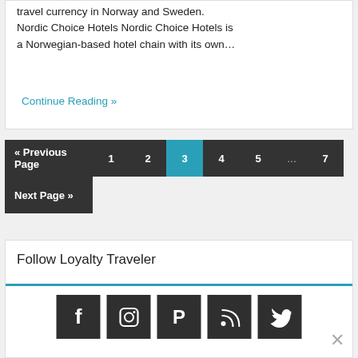travel currency in Norway and Sweden. Nordic Choice Hotels Nordic Choice Hotels is a Norwegian-based hotel chain with its own…
Continue Reading »
« Previous Page  1  2  3  4  5  ...  7  Next Page »
Follow Loyalty Traveler
[Figure (other): Social media icons: Facebook, Instagram, Pinterest, RSS, Twitter]